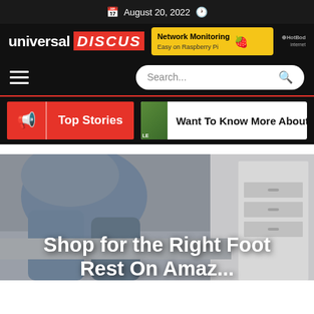August 20, 2022
[Figure (logo): Universal Discus logo with red box on 'DISCUS' text, next to Network Monitoring ad banner for Raspberry Pi by HotBod]
[Figure (screenshot): Navigation bar with hamburger menu icon on left and search bar on right with placeholder 'Search...']
[Figure (screenshot): Top Stories button in red with megaphone icon, and 'Want To Know More About' teaser card]
[Figure (photo): Person sitting in jeans with white drawer unit in background]
Shop for the Right Foot Rest On Amaz...